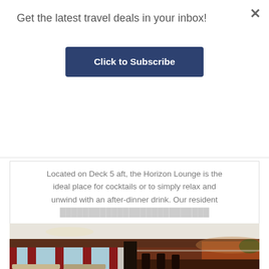Get the latest travel deals in your inbox!
Click to Subscribe
Located on Deck 5 aft, the Horizon Lounge is the ideal place for cocktails or to simply relax and unwind with an after-dinner drink. Our resident ...
+ Show More
[Figure (photo): Interior photo of a cruise ship lounge bar with dark wood accents, red curtains, large windows with ocean view, and bar seating area]